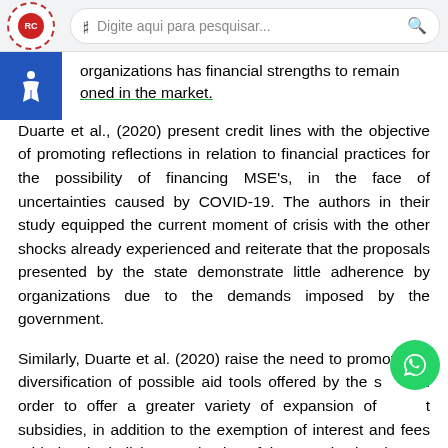[Figure (screenshot): Browser top bar with logo, search field showing 'Digite aqui para pesquisar...' with search icon]
organizations has financial strengths to remain positioned in the market.
Duarte et al., (2020) present credit lines with the objective of promoting reflections in relation to financial practices for the possibility of financing MSE's, in the face of uncertainties caused by COVID-19. The authors in their study equipped the current moment of crisis with the other shocks already experienced and reiterate that the proposals presented by the state demonstrate little adherence by organizations due to the demands imposed by the government.
Similarly, Duarte et al. (2020) raise the need to promote the diversification of possible aid tools offered by the s[tate, in] order to offer a greater variety of expansion of [credi]t subsidies, in addition to the exemption of interest and fees added to the judicious evaluation of the organizational